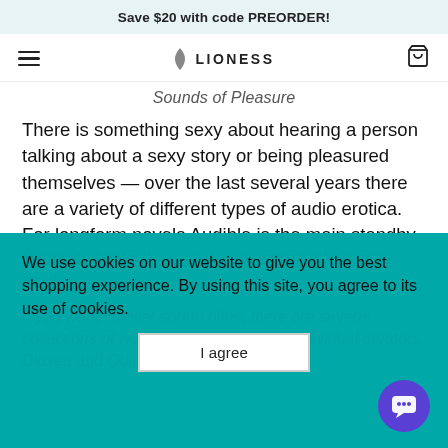Save $20 with code PREORDER!
LIONESS
Sounds of Pleasure
There is something sexy about hearing a person talking about a sexy story or being pleasured themselves — over the last several years there are a variety of different types of audio erotica. For longform novels Audible is the main standby (or Romance books if you prefer something a little more racy).
If you want smaller sound bites, there are several collections of work by companies and individual creators. Dipsea and Quinn are startups
We use cookies on our website to give you the best shopping experience. By using this site, you agree to its use of cookies.
I agree